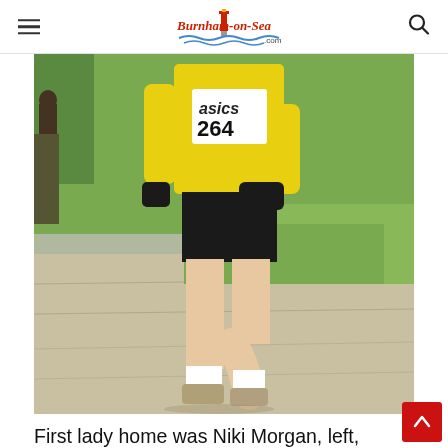Burnham-on-Sea .com
[Figure (photo): A runner wearing a yellow vest with race number 264 and black shorts, running on a gravel path during a cross-country race. Green grass and trees visible in the background. Another runner visible at left edge.]
First lady home was Niki Morgan, left, while Burnham Harriers member John n Belhomme was among the local finishers of Sunday's race.